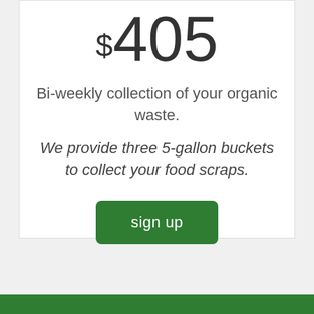$405
Bi-weekly collection of your organic waste.
We provide three 5-gallon buckets to collect your food scraps.
sign up